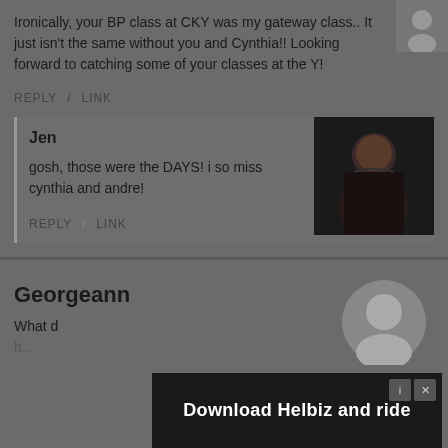Ironically, your BP class at CKY was my gateway class.. It just isn't the same without you and Cynthia!! Looking forward to catching some of your classes at the Y!
REPLY / LINK
Jen
gosh, those were the DAYS! i so miss cynthia and andre!
[Figure (photo): Dark portrait photo of a woman (Jen's avatar)]
REPLY / LINK
Georgeann
[Figure (photo): Circular avatar placeholder for Georgeann]
What d...
[Figure (screenshot): Advertisement banner reading 'Download Helbiz and ride']